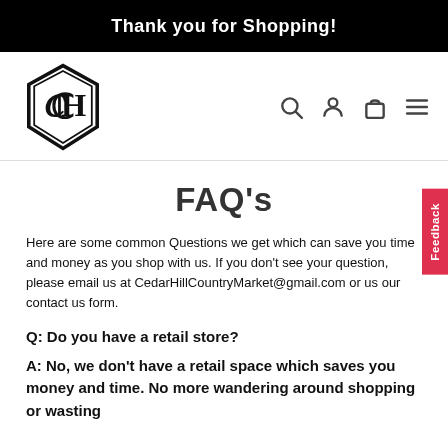Thank you for Shopping!
[Figure (logo): Cedar Hill Country Market hexagonal logo with stylized C and H letters]
FAQ's
Here are some common Questions we get which can save you time and money as you shop with us.  If you don't see your question, please email us at CedarHillCountryMarket@gmail.com or us our contact us form.
Q: Do you have a retail store?
A: No, we don't have a retail space which saves you money and time.  No more wandering around shopping or wasting